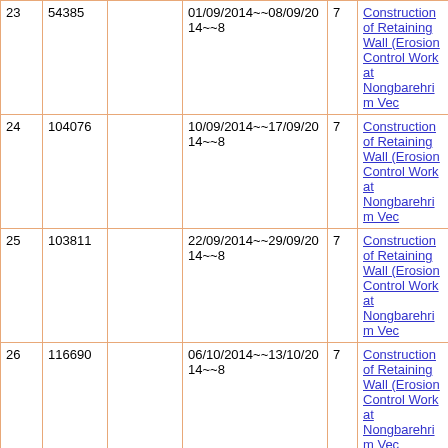| 23 | 54385 |  | 01/09/2014~~08/09/2014~~8 | 7 | Construction of Retaining Wall (Erosion Control Work at Nongbarehrim Vec |
| 24 | 104076 |  | 10/09/2014~~17/09/2014~~8 | 7 | Construction of Retaining Wall (Erosion Control Work at Nongbarehrim Vec |
| 25 | 103811 |  | 22/09/2014~~29/09/2014~~8 | 7 | Construction of Retaining Wall (Erosion Control Work at Nongbarehrim Vec |
| 26 | 116690 |  | 06/10/2014~~13/10/2014~~8 | 7 | Construction of Retaining Wall (Erosion Control Work at Nongbarehrim Vec |